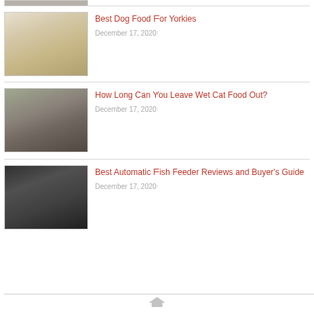[Figure (photo): Partial top of a previous article's thumbnail (cropped)]
[Figure (photo): Yorkshire Terrier dog lying down on floor, close-up face photo]
Best Dog Food For Yorkies
December 17, 2020
[Figure (photo): Two cats eating from a bowl of cat food]
How Long Can You Leave Wet Cat Food Out?
December 17, 2020
[Figure (photo): Automatic fish feeder device mounted on tank edge, dispensing food]
Best Automatic Fish Feeder Reviews and Buyer's Guide
December 17, 2020